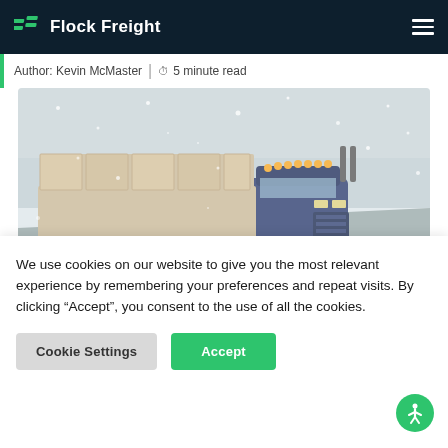Flock Freight
Author: Kevin McMaster | 5 minute read
[Figure (photo): A blue semi-truck flatbed carrying large hay bales, driving in a heavy snowstorm on a highway.]
We use cookies on our website to give you the most relevant experience by remembering your preferences and repeat visits. By clicking “Accept”, you consent to the use of all the cookies.